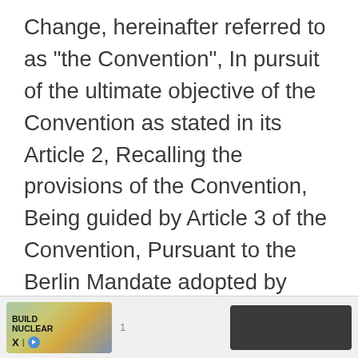Change, hereinafter referred to as "the Convention", In pursuit of the ultimate objective of the Convention as stated in its Article 2, Recalling the provisions of the Convention, Being guided by Article 3 of the Convention, Pursuant to the Berlin Mandate adopted by decision 1/CP.1 of the Conference of the Parties to the Convention at its first session, Have agreed as follows:
ARTICLE 2
[Figure (other): Grey circular scroll-up button with chevron/caret icon pointing upward]
[Figure (other): Advertisement banner with 'BUILD NUCLEAR' text image on left and dark button on right]